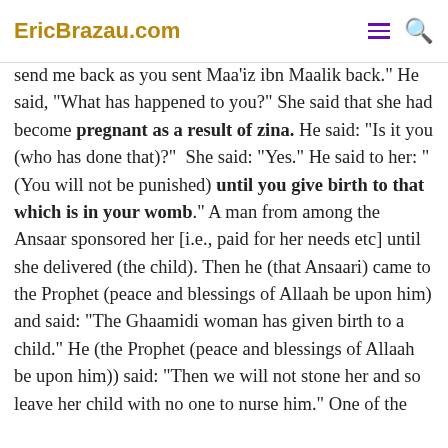EricBrazau.com
purify me!" He said, "Woe to you! Go back and ... of Allaah and ... to Him." She said, "I think that you intend to send me back as you sent Maa’iz ibn Maalik back.” He said, “What has happened to you?” She said that she had become pregnant as a result of zina. He said: “Is it you (who has done that)?” She said: “Yes.” He said to her: “(You will not be punished) until you give birth to that which is in your womb.” A man from among the Ansaar sponsored her [i.e., paid for her needs etc] until she delivered (the child). Then he (that Ansaari) came to the Prophet (peace and blessings of Allaah be upon him) and said: “The Ghaamidi woman has given birth to a child.” He (the Prophet (peace and blessings of Allaah be upon him)) said: “Then we will not stone her and so leave her child with no one to nurse him.” One of the